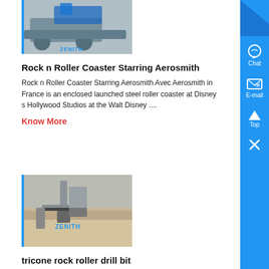[Figure (photo): Photo of industrial roller crusher machinery with blue color, ZENITH branding, on a flat surface outdoors]
Rock n Roller Coaster Starring Aerosmith
Rock n Roller Coaster Starring Aerosmith Avec Aerosmith in France is an enclosed launched steel roller coaster at Disney s Hollywood Studios at the Walt Disney ....
Know More
[Figure (photo): Photo of a tricone rock roller drill bit setup in a desert/sandy environment with ZENITH watermark]
tricone rock roller drill bit
All Verified tricone rock roller drill bit suppliers tricone rock roller